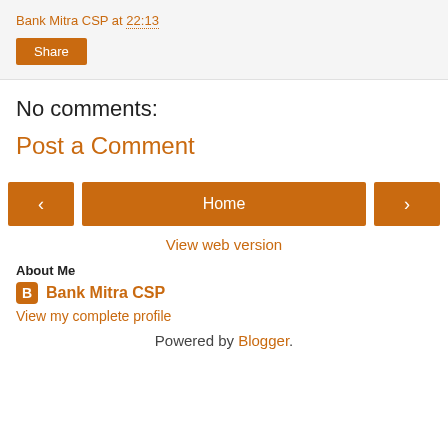Bank Mitra CSP at 22:13
Share
No comments:
Post a Comment
< Home >
View web version
About Me
Bank Mitra CSP
View my complete profile
Powered by Blogger.